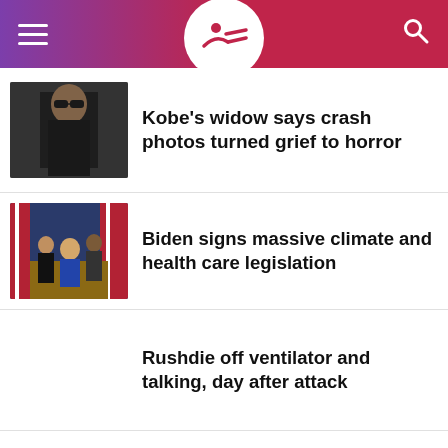News app header with logo
Kobe's widow says crash photos turned grief to horror
Biden signs massive climate and health care legislation
Rushdie off ventilator and talking, day after attack
Suspect in 4 New Mexico killings left trail of violence